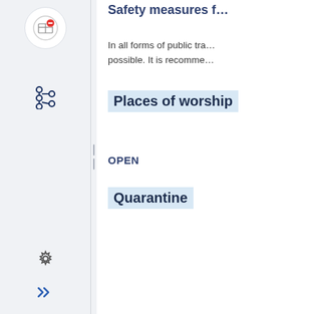[Figure (screenshot): Web application sidebar with navigation icons: a circular icon with a no-entry/table symbol at top, a tree/hierarchy icon in the middle, a gear/settings icon and double-chevron icon at the bottom. A drag handle separates the sidebar from the main content.]
Safety measures f…
In all forms of public tra… possible. It is recomme…
Places of worship
OPEN
Quarantine